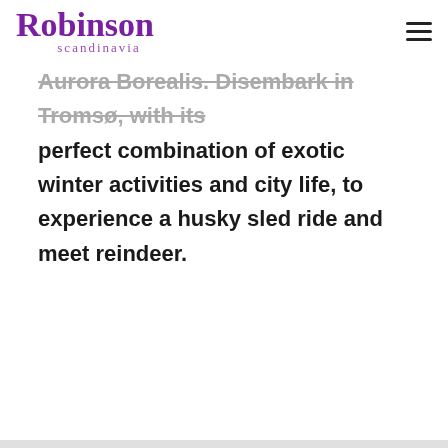Robinson scandinavia
Aurora Borealis. Disembark in Tromsø, with its perfect combination of exotic winter activities and city life, to experience a husky sled ride and meet reindeer.